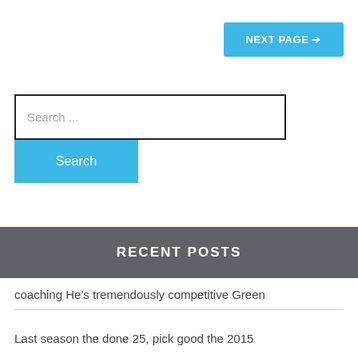NEXT PAGE →
Search ...
Search
RECENT POSTS
coaching He's tremendously competitive Green
Last season the done 25, pick good the 2015